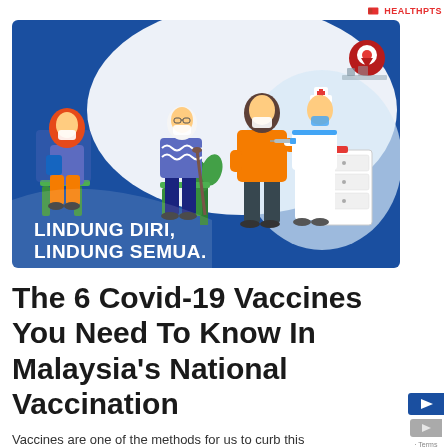HEALTHPTS
[Figure (illustration): Vaccination campaign illustration on a blue background showing four figures: a woman wearing hijab and mask sitting on a green chair, an elderly man with a cane sitting on a chair, a man in an orange shirt receiving a vaccine injection from a nurse in white uniform, with medical equipment (drawers/cabinet) and plants in the background. Bold white text at bottom reads: LINDUNG DIRI, LINDUNG SEMUA.]
The 6 Covid-19 Vaccines You Need To Know In Malaysia's National Vaccination
Vaccines are one of the methods for us to curb this